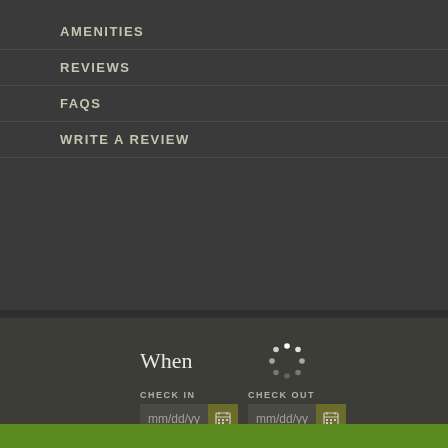AMENITIES
REVIEWS
FAQS
WRITE A REVIEW
When
CHECK IN
mm/dd/yy
CHECK OUT
mm/dd/yy
Who
ROOMS
1
ADULTS
1
KIDS
0